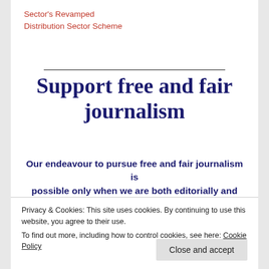Sector's Revamped
Distribution Sector Scheme
Support free and fair journalism
Our endeavour to pursue free and fair journalism is possible only when we are both editorially and financially sound.
We are the organisation that has dreamt of becoming a
Privacy & Cookies: This site uses cookies. By continuing to use this website, you agree to their use.
To find out more, including how to control cookies, see here: Cookie Policy
Close and accept